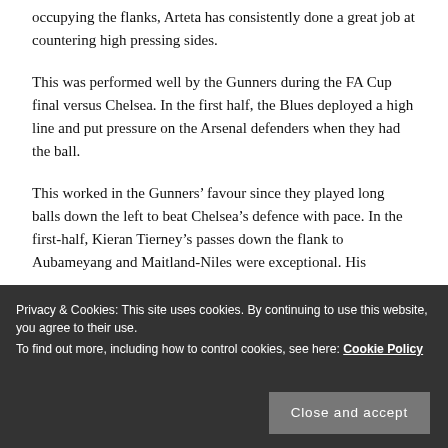occupying the flanks, Arteta has consistently done a great job at countering high pressing sides.
This was performed well by the Gunners during the FA Cup final versus Chelsea. In the first half, the Blues deployed a high line and put pressure on the Arsenal defenders when they had the ball.
This worked in the Gunners’ favour since they played long balls down the left to beat Chelsea’s defence with pace. In the first-half, Kieran Tierney’s passes down the flank to Aubameyang and Maitland-Niles were exceptional. His
Privacy & Cookies: This site uses cookies. By continuing to use this website, you agree to their use.
To find out more, including how to control cookies, see here: Cookie Policy
Close and accept